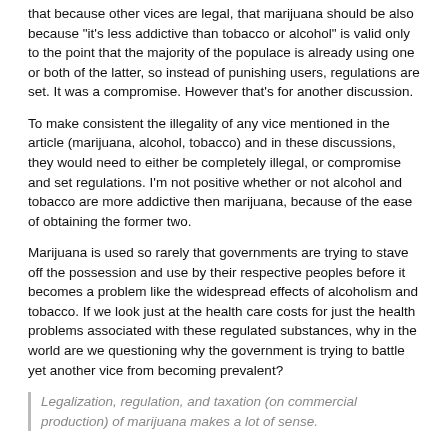that because other vices are legal, that marijuana should be also because "it's less addictive than tobacco or alcohol" is valid only to the point that the majority of the populace is already using one or both of the latter, so instead of punishing users, regulations are set. It was a compromise. However that's for another discussion.
To make consistent the illegality of any vice mentioned in the article (marijuana, alcohol, tobacco) and in these discussions, they would need to either be completely illegal, or compromise and set regulations. I'm not positive whether or not alcohol and tobacco are more addictive then marijuana, because of the ease of obtaining the former two.
Marijuana is used so rarely that governments are trying to stave off the possession and use by their respective peoples before it becomes a problem like the widespread effects of alcoholism and tobacco. If we look just at the health care costs for just the health problems associated with these regulated substances, why in the world are we questioning why the government is trying to battle yet another vice from becoming prevalent?
Legalization, regulation, and taxation (on commercial production) of marijuana makes a lot of sense.